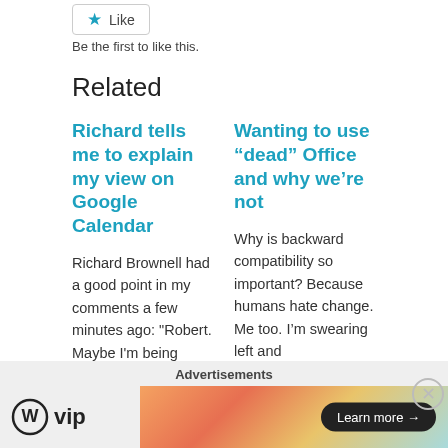[Figure (other): Like button with star icon]
Be the first to like this.
Related
Richard tells me to explain my view on Google Calendar
Richard Brownell had a good point in my comments a few minutes ago: "Robert. Maybe I'm being greedy, but could
August 18, 2006
Wanting to use “dead” Office and why we’re not
Why is backward compatibility so important? Because humans hate change. Me too. I’m swearing left and
July 17, 2006
Advertisements
[Figure (logo): WordPress VIP logo and advertisement banner with Learn more button]